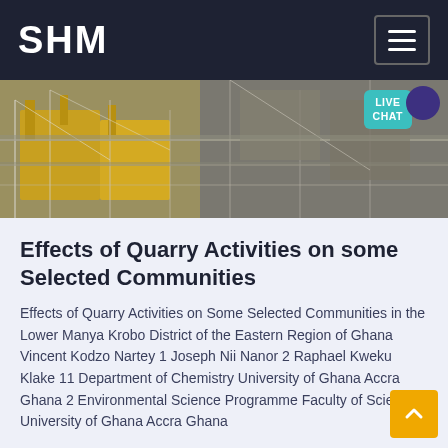SHM
[Figure (photo): Aerial or elevated view of quarry industrial machinery and scaffolding structures with yellow and grey equipment visible]
Effects of Quarry Activities on some Selected Communities
Effects of Quarry Activities on Some Selected Communities in the Lower Manya Krobo District of the Eastern Region of Ghana Vincent Kodzo Nartey 1 Joseph Nii Nanor 2 Raphael Kweku Klake 11 Department of Chemistry University of Ghana Accra Ghana 2 Environmental Science Programme Faculty of Science University of Ghana Accra Ghana